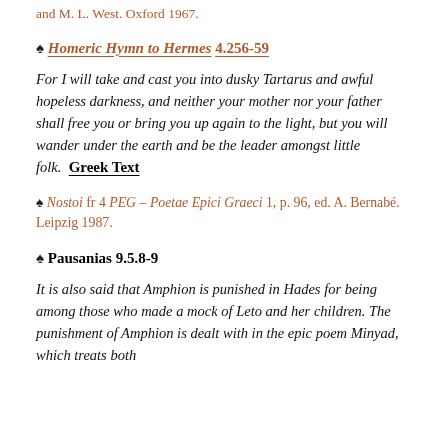and M. L. West. Oxford 1967.
♠ Homeric Hymn to Hermes 4.256-59
For I will take and cast you into dusky Tartarus and awful hopeless darkness, and neither your mother nor your father shall free you or bring you up again to the light, but you will wander under the earth and be the leader amongst little folk.  Greek Text
♠ Nostoi fr 4 PEG – Poetae Epici Graeci 1, p. 96, ed. A. Bernabé. Leipzig 1987.
♠ Pausanias 9.5.8-9
It is also said that Amphion is punished in Hades for being among those who made a mock of Leto and her children. The punishment of Amphion is dealt with in the epic poem Minyad, which treats both